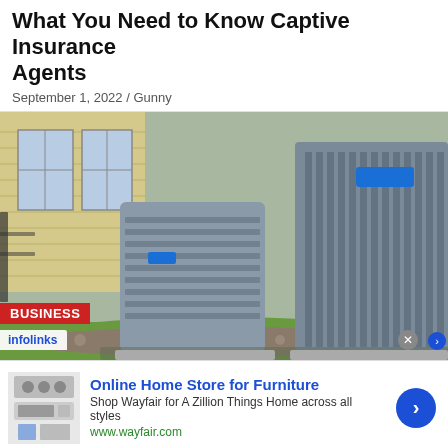What You Need to Know Captive Insurance Agents
September 1, 2022 / Gunny
[Figure (photo): Two outdoor HVAC air conditioning units installed beside a house with yellow siding and windows, on a gravel bed with green grass in the background. A blue label/sticker is visible on one unit.]
BUSINESS
infolinks
Online Home Store for Furniture
Shop Wayfair for A Zillion Things Home across all styles
www.wayfair.com